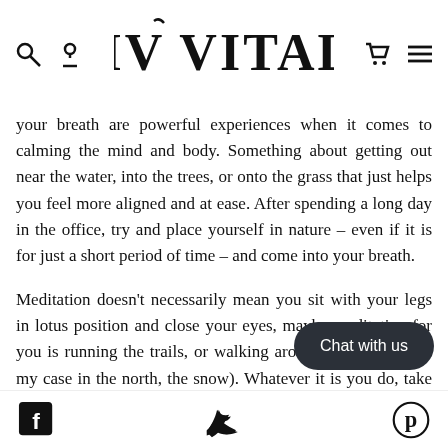VIV VITALS
your breath are powerful experiences when it comes to calming the mind and body. Something about getting out near the water, into the trees, or onto the grass that just helps you feel more aligned and at ease. After spending a long day in the office, try and place yourself in nature – even if it is for just a short period of time – and come into your breath.

Meditation doesn't necessarily mean you sit with your legs in lotus position and close your eyes, maybe meditation for you is running the trails, or walking around a garden (or in my case in the north, the snow). Whatever it is you do, take some moments to come into yourself – breathe, take noti[ce,] and if you can do it out in nature, all the better.
Facebook | Twitter | Pinterest